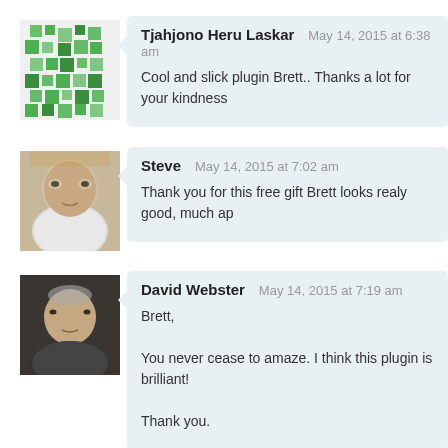[Figure (illustration): Green pixel/mosaic avatar for Tjahjono Heru Laskar]
Tjahjono Heru Laskar   May 14, 2015 at 6:38 am
Cool and slick plugin Brett.. Thanks a lot for your kindness
[Figure (photo): Photo of Steve, older man in white shirt]
Steve   May 14, 2015 at 7:02 am
Thank you for this free gift Brett looks realy good, much ap
[Figure (photo): Photo of David Webster, older man in dark jacket]
David Webster   May 14, 2015 at 7:19 am
Brett,
You never cease to amaze. I think this plugin is brilliant!
Thank you.